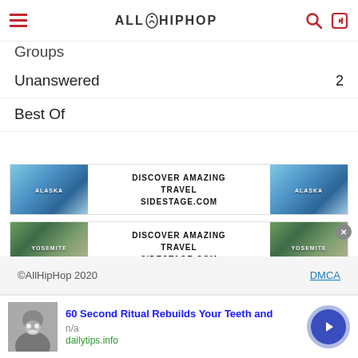AllHipHop
Groups
Unanswered  2
Best Of
[Figure (illustration): Travel advertisement banner for Alaska: glacier blue ice imagery with text DISCOVER AMAZING TRAVEL SIDESTAGE.COM and ALASKA label]
[Figure (illustration): Travel advertisement banner for Yosemite: mountain meadow imagery with text DISCOVER AMAZING TRAVEL SIDESTAGE.COM and YOSEMITE label]
©AllHipHop 2020   DMCA
60 Second Ritual Rebuilds Your Teeth and
n/a
dailytips.info